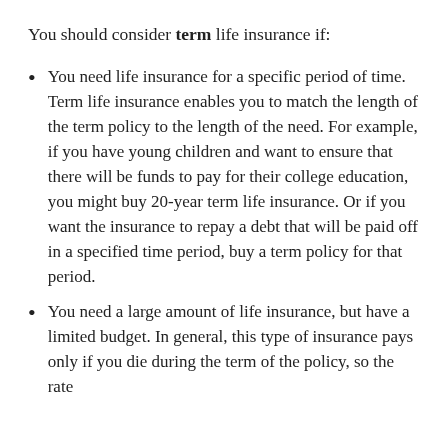You should consider term life insurance if:
You need life insurance for a specific period of time. Term life insurance enables you to match the length of the term policy to the length of the need. For example, if you have young children and want to ensure that there will be funds to pay for their college education, you might buy 20-year term life insurance. Or if you want the insurance to repay a debt that will be paid off in a specified time period, buy a term policy for that period.
You need a large amount of life insurance, but have a limited budget. In general, this type of insurance pays only if you die during the term of the policy, so the rate